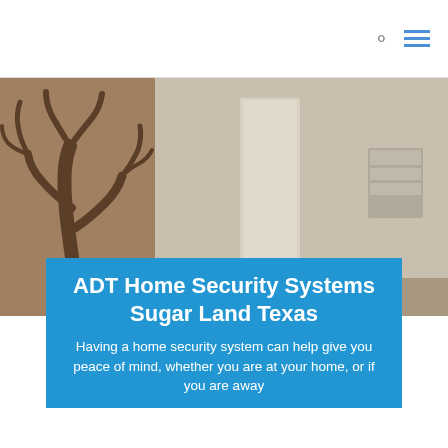[Figure (photo): Interior room photo showing a decorative tree artwork on the left wall and a white door/wall area on the right, with a dimly lit brownish-warm ambiance.]
ADT Home Security Systems Sugar Land Texas
Having a home security system can help give you peace of mind, whether you are at your home, or if you are away